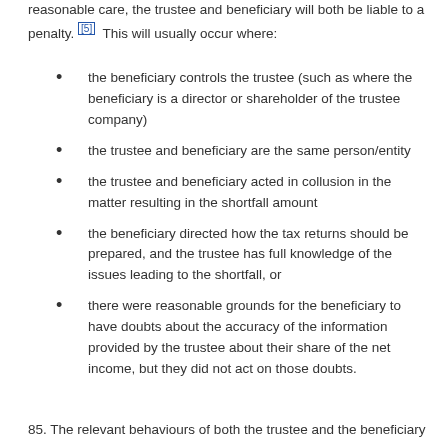reasonable care, the trustee and beneficiary will both be liable to a penalty. [5] This will usually occur where:
the beneficiary controls the trustee (such as where the beneficiary is a director or shareholder of the trustee company)
the trustee and beneficiary are the same person/entity
the trustee and beneficiary acted in collusion in the matter resulting in the shortfall amount
the beneficiary directed how the tax returns should be prepared, and the trustee has full knowledge of the issues leading to the shortfall, or
there were reasonable grounds for the beneficiary to have doubts about the accuracy of the information provided by the trustee about their share of the net income, but they did not act on those doubts.
85. The relevant behaviours of both the trustee and the beneficiary